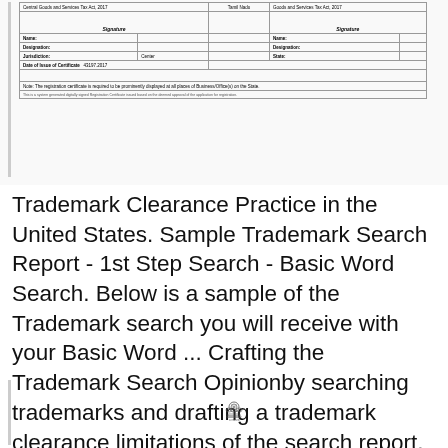[Figure (other): Partial view of a GST (Goods and Services Tax) Registration Certificate showing signature blocks, name, designation, jurisdiction fields, date of issue, and a note about prominent display. Below is a system-generated note about the certificate.]
Trademark Clearance Practice in the United States. Sample Trademark Search Report - 1st Step Search - Basic Word Search. Below is a sample of the Trademark search you will receive with your Basic Word ... Crafting the Trademark Search Opinionby searching trademarks and drafting a trademark clearance limitations of the search report. For example,.
[Figure (other): Partial bottom view showing a left vertical bar and an Indian government emblem (Ashoka lion capital) centered, suggesting the top of another GST certificate or official document.]